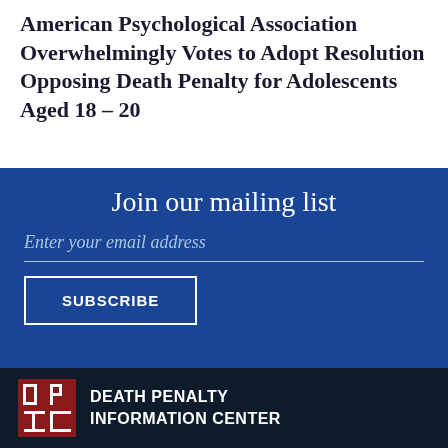American Psychological Association Overwhelmingly Votes to Adopt Resolution Opposing Death Penalty for Adolescents Aged 18 – 20
Join our mailing list
Enter your email address
SUBSCRIBE
DEATH PENALTY INFORMATION CENTER